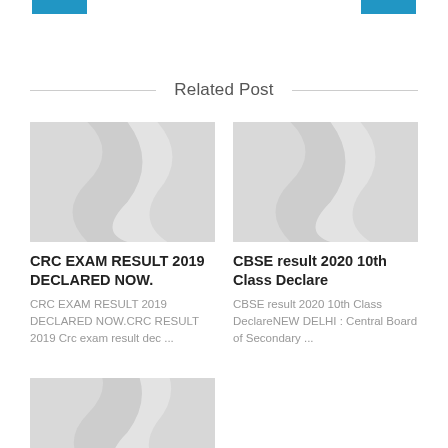Related Post
[Figure (photo): Placeholder image with diagonal wave pattern in light grey for CRC EXAM RESULT post]
CRC EXAM RESULT 2019 DECLARED NOW.
CRC EXAM RESULT 2019 DECLARED NOW.CRC RESULT 2019 Crc exam result dec ...
[Figure (photo): Placeholder image with diagonal wave pattern in light grey for CBSE result post]
CBSE result 2020 10th Class Declare
CBSE result 2020 10th Class DeclareNEW DELHI : Central Board of Secondary ...
[Figure (photo): Placeholder image with diagonal wave pattern in light grey, partially visible at bottom]